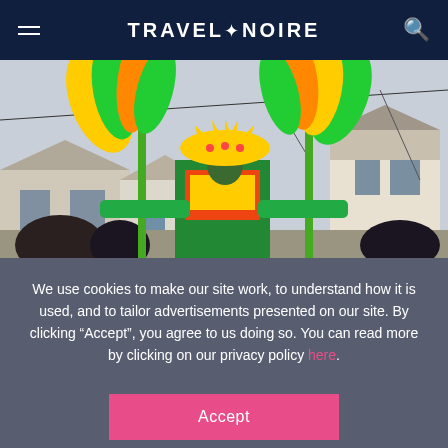TRAVEL+NOIRE
[Figure (photo): Mardi Gras Indian in colorful feathered costume with green, yellow, and orange plumes, standing in a New Orleans street with houses and power lines in the background]
We use cookies to make our site work, to understand how it is used, and to tailor advertisements presented on our site. By clicking “Accept”, you agree to us doing so. You can read more by clicking on our privacy policy here.
Accept